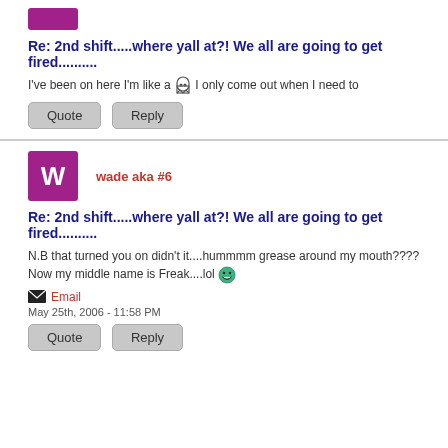[Figure (illustration): Magenta/purple square avatar placeholder at top]
Re: 2nd shift.....where yall at?! We all are going to get fired..........
I've been on here I'm like a [ghost emoji] I only come out when I need to
Quote   Reply
[Figure (illustration): Magenta/purple square avatar with white W letter]
wade aka #6
Re: 2nd shift.....where yall at?! We all are going to get fired..........
N.B that turned you on didn't it....hummmm grease around my mouth???? Now my middle name is Freak....lol [grinning emoji]
Email
May 25th, 2006 - 11:58 PM
Quote   Reply